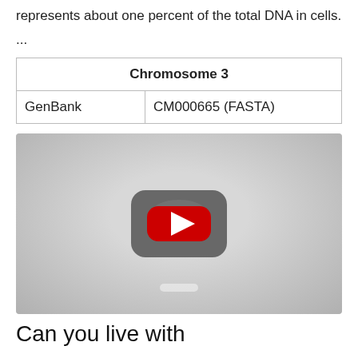represents about one percent of the total DNA in cells.
...
| Chromosome 3 |
| --- |
| GenBank | CM000665 (FASTA) |
[Figure (screenshot): YouTube video thumbnail placeholder showing a gray background with a YouTube play button icon in the center.]
Can you live with